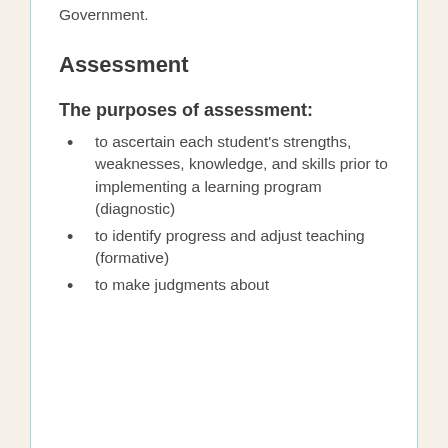Government.
Assessment
The purposes of assessment:
to ascertain each student’s strengths, weaknesses, knowledge, and skills prior to implementing a learning program (diagnostic)
to identify progress and adjust teaching (formative)
to make judgments about